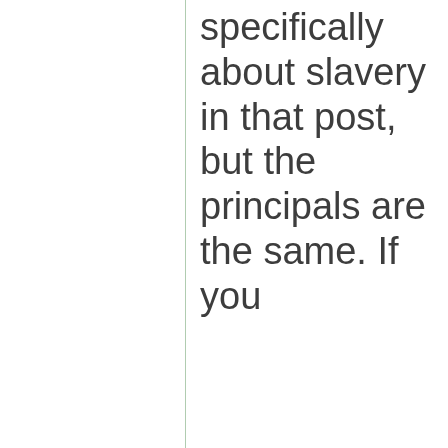specifically about slavery in that post, but the principals are the same. If you